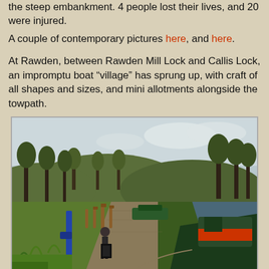the steep embankment. 4 people lost their lives, and 20 were injured.
A couple of contemporary pictures here, and here.
At Rawden, between Rawden Mill Lock and Callis Lock, an impromptu boat “village” has sprung up, with craft of all shapes and sizes, and mini allotments alongside the towpath.
[Figure (photo): Photograph of a canal towpath at Rawden with narrowboats moored on the right side, wooden posts along the left, trees on both sides, and hills visible in the background under an overcast sky.]